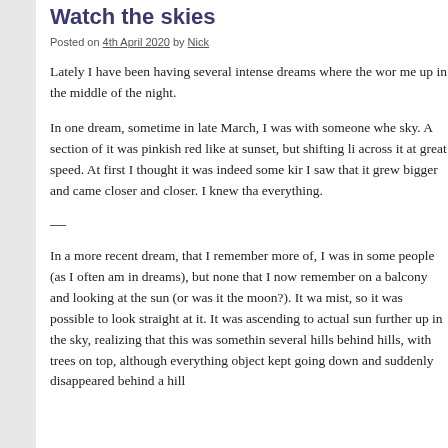Watch the skies
Posted on 4th April 2020 by Nick
Lately I have been having several intense dreams where the wor me up in the middle of the night.
In one dream, sometime in late March, I was with someone whe sky. A section of it was pinkish red like at sunset, but shifting li across it at great speed. At first I thought it was indeed some kir I saw that it grew bigger and came closer and closer. I knew tha everything.
—
In a more recent dream, that I remember more of, I was in some people (as I often am in dreams), but none that I now remember on a balcony and looking at the sun (or was it the moon?). It wa mist, so it was possible to look straight at it. It was ascending to actual sun further up in the sky, realizing that this was somethin several hills behind hills, with trees on top, although everything object kept going down and suddenly disappeared behind a hill